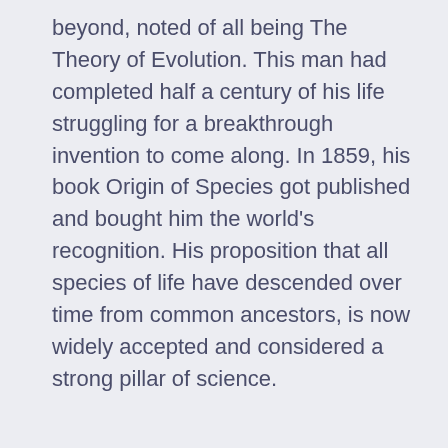beyond, noted of all being The Theory of Evolution. This man had completed half a century of his life struggling for a breakthrough invention to come along. In 1859, his book Origin of Species got published and bought him the world's recognition. His proposition that all species of life have descended over time from common ancestors, is now widely accepted and considered a strong pillar of science.